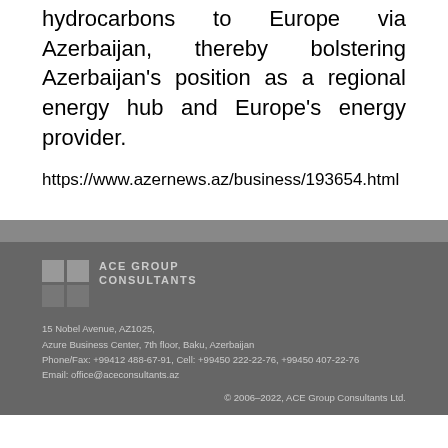hydrocarbons to Europe via Azerbaijan, thereby bolstering Azerbaijan's position as a regional energy hub and Europe's energy provider.
https://www.azernews.az/business/193654.html
[Figure (logo): ACE Group Consultants logo with four squares and text]
15 Nobel Avenue, AZ1025,
Azure Business Center, 7th floor, Baku, Azerbaijan
Phone/Fax: +99412 488-67-91, Cell: +99450 222-22-76, +99450 407-22-76
Email: office@aceconsultants.az
© 2006–2022, ACE Group Consultants Ltd.